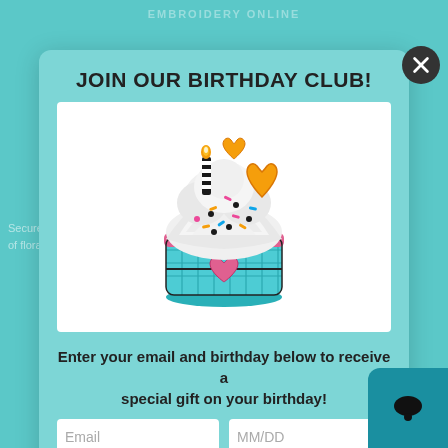JOIN OUR BIRTHDAY CLUB!
[Figure (illustration): Embroidered birthday cupcake with candle, hearts, and colorful sprinkles on a teal checkered cupcake wrapper with a pink heart, displayed on a white background]
Enter your email and birthday below to receive a special gift on your birthday!
Email
MM/DD